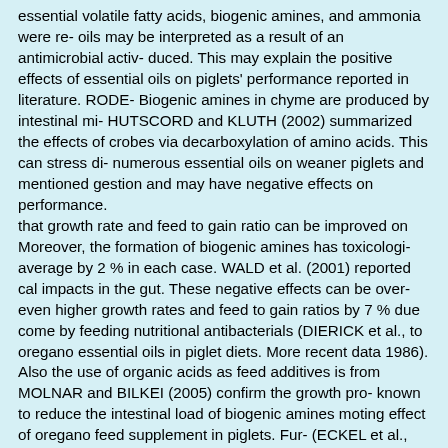essential volatile fatty acids, biogenic amines, and ammonia were re- oils may be interpreted as a result of an antimicrobial activ- duced. This may explain the positive effects of essential oils on piglets' performance reported in literature. RODE- Biogenic amines in chyme are produced by intestinal mi- HUTSCORD and KLUTH (2002) summarized the effects of crobes via decarboxylation of amino acids. This can stress di- numerous essential oils on weaner piglets and mentioned gestion and may have negative effects on performance. that growth rate and feed to gain ratio can be improved on Moreover, the formation of biogenic amines has toxicologi- average by 2 % in each case. WALD et al. (2001) reported cal impacts in the gut. These negative effects can be over- even higher growth rates and feed to gain ratios by 7 % due come by feeding nutritional antibacterials (DIERICK et al., to oregano essential oils in piglet diets. More recent data 1986). Also the use of organic acids as feed additives is from MOLNAR and BILKEI (2005) confirm the growth pro- known to reduce the intestinal load of biogenic amines moting effect of oregano feed supplement in piglets. Fur- (ECKEL et al., 1992). In the present study there was no sta- thermore, WENK (2003) mentions that herbs, spices and es- tistically significant influence